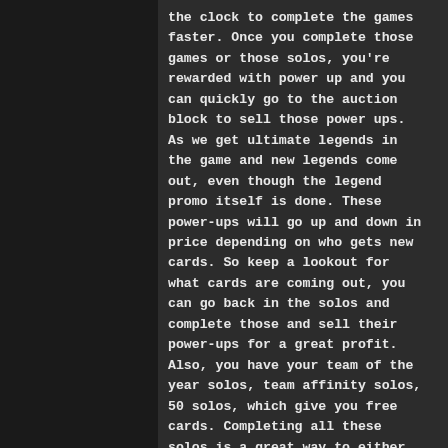the clock to complete the games faster. Once you complete those games or those solos, you're rewarded with power up and you can quickly go to the auction block to sell those power ups. As we get ultimate legends in the game and new legends come out, even though the legend promo itself is done. These power-ups will go up and down in price depending on who gets new cards. So keep a lookout for what cards are coming out, you can go back in the solos and complete those and sell their power-ups for a great profit. Also, you have your team of the year solos, team affinity solos, 50 solos, which give you free cards. Completing all these solos is a great way to either get free cards for your team or you can quickly sell them for training and then use those training to re-roll in the store and sell those cards for profit.
Work the auction house
Once you have a bit of coin and some excess players, you can take a trip to the auction house and put that money to work. It's natural